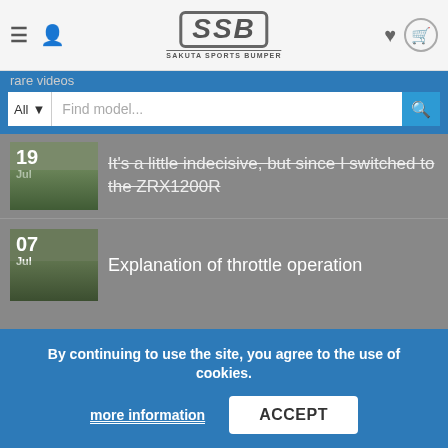SSB SAKUTA SPORTS BUMPER - website header with navigation icons, logo, heart and cart icons
[Figure (screenshot): Search bar with All dropdown, Find model... placeholder, and search button on blue background]
19 Jul - It's a little indecisive, but since I switched to the ZRX1200R
07 Jul - Explanation of throttle operation
ABOUT US
Welcome to SSB Factory Japan. Our workshop is dedicated to the production of quality motorcycle protection and one of a fine equipment right out of Tokyo Japan. Our goal is to protect and preserve both the vehicle and the rider with methods that doesn't sacrifice the
By continuing to use the site, you agree to the use of cookies. more information | ACCEPT